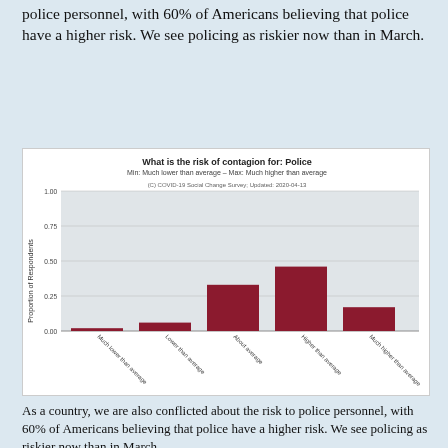police personnel, with 60% of Americans believing that police have a higher risk. We see policing as riskier now than in March.
[Figure (bar-chart): What is the risk of contagion for: Police]
As a country, we are also conflicted about the risk to police personnel, with 60% of Americans believing that police have a higher risk. We see policing as riskier now than in March.